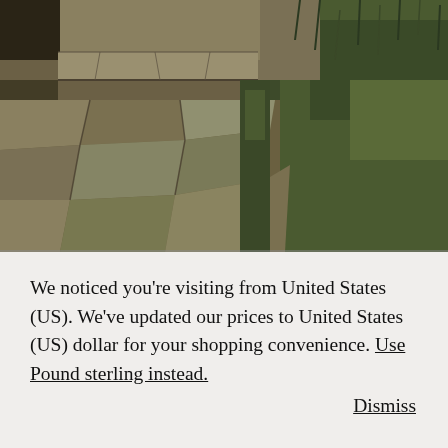[Figure (photo): Outdoor photo showing rustic stone steps or path made of irregular flat stones, with green grass and vegetation growing alongside and between the stones.]
We noticed you're visiting from United States (US). We've updated our prices to United States (US) dollar for your shopping convenience. Use Pound sterling instead. Dismiss